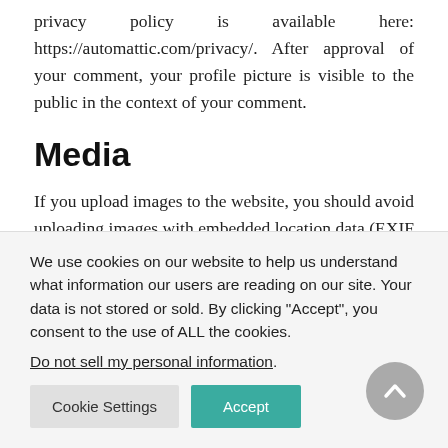privacy policy is available here: https://automattic.com/privacy/. After approval of your comment, your profile picture is visible to the public in the context of your comment.
Media
If you upload images to the website, you should avoid uploading images with embedded location data (EXIF GPS) included. Visitors to the website can download and
We use cookies on our website to help us understand what information our users are reading on our site. Your data is not stored or sold. By clicking “Accept”, you consent to the use of ALL the cookies.
Do not sell my personal information.